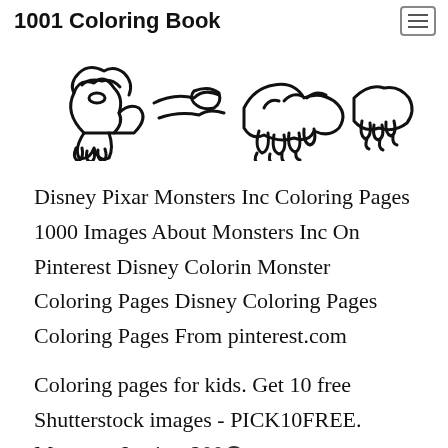1001 Coloring Book
[Figure (illustration): Black and white line drawing of monster/creature feet and claws, coloring book style]
Disney Pixar Monsters Inc Coloring Pages 1000 Images About Monsters Inc On Pinterest Disney Colorin Monster Coloring Pages Disney Coloring Pages Coloring Pages From pinterest.com
Coloring pages for kids. Get 10 free Shutterstock images - PICK10FREE. Monsters Inc is a 200ⓧ computer-animated